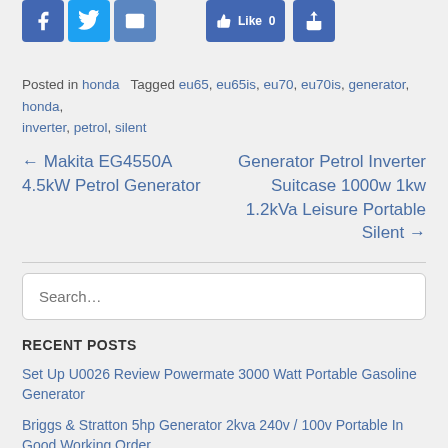[Figure (other): Social sharing icons: Facebook, Twitter, Email, Like button, Share button]
Posted in honda   Tagged eu65, eu65is, eu70, eu70is, generator, honda, inverter, petrol, silent
← Makita EG4550A 4.5kW Petrol Generator
Generator Petrol Inverter Suitcase 1000w 1kw 1.2kVa Leisure Portable Silent →
Search...
RECENT POSTS
Set Up U0026 Review Powermate 3000 Watt Portable Gasoline Generator
Briggs & Stratton 5hp Generator 2kva 240v / 100v Portable In Good Working Order
Senci SC3200iF Inverter Petrol Generator 3.2KW